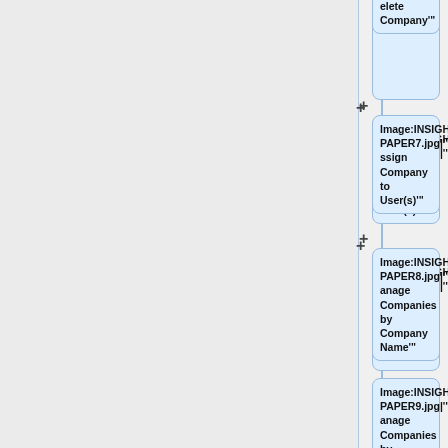[Figure (flowchart): Partial flowchart showing wiki image link nodes for INSIGHTPAPER7 through INSIGHTPAPER10, connected with plus signs on a left vertical line. Nodes include: 'Image:INSIGHTPAPER7.jpg|"Assign Company to User(s)"', 'Image:INSIGHTPAPER8.jpg|"Manage Companies by Company Name"', 'Image:INSIGHTPAPER9.jpg|"Manage Companies by Company Stage"', and a partial 'Image:INSIGHTPAPER10.jpg|"' node at the bottom. A partial node at the top shows 'elete Company'"'.]